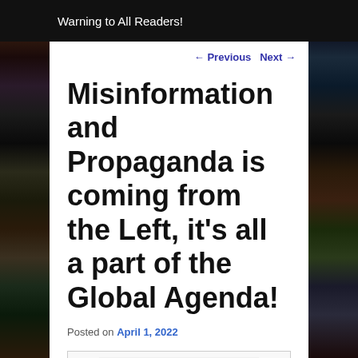Warning to All Readers!
← Previous   Next →
Misinformation and Propaganda is coming from the Left, it's all a part of the Global Agenda!
Posted on April 1, 2022
[Figure (other): Partially visible image at bottom of page]